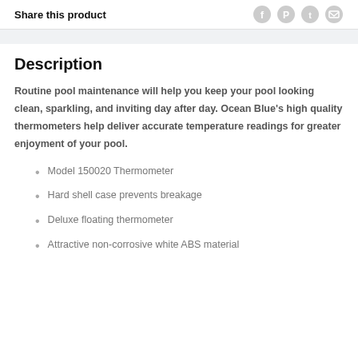Share this product
Description
Routine pool maintenance will help you keep your pool looking clean, sparkling, and inviting day after day. Ocean Blue's high quality thermometers help deliver accurate temperature readings for greater enjoyment of your pool.
Model 150020 Thermometer
Hard shell case prevents breakage
Deluxe floating thermometer
Attractive non-corrosive white ABS material